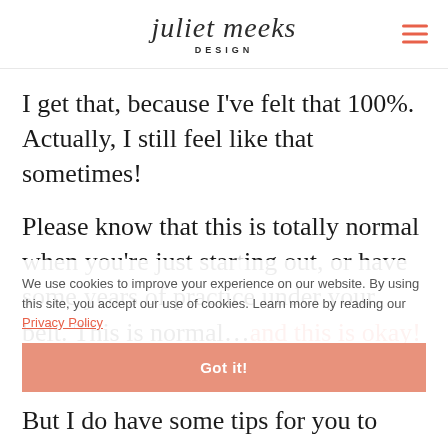[Figure (logo): Juliet Meeks Design logo with script font and hamburger menu icon in coral/red]
I get that, because I've felt that 100%. Actually, I still feel like that sometimes!
Please know that this is totally normal when you're just starting out, or have some years of practice under your belt. This is normal…and this is okay!
We use cookies to improve your experience on our website. By using this site, you accept our use of cookies. Learn more by reading our Privacy Policy
Got it!
But I do have some tips for you to